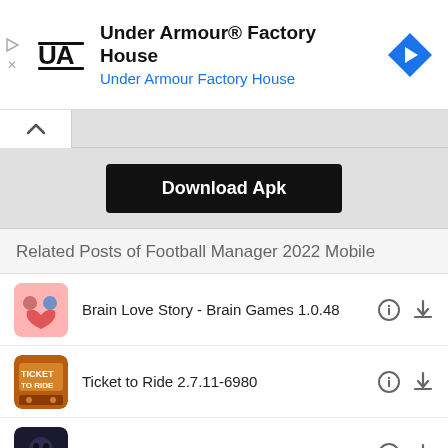[Figure (screenshot): Under Armour Factory House advertisement banner with Under Armour logo, title text, subtitle link, and navigation arrow icon]
[Figure (screenshot): Collapse chevron button bar with up arrow]
Download Apk
Related Posts of Football Manager 2022 Mobile
Brain Love Story - Brain Games 1.0.48
Ticket to Ride 2.7.11-6980
Cultist Simulator 3.6
KawaiiWorld 1.000.01